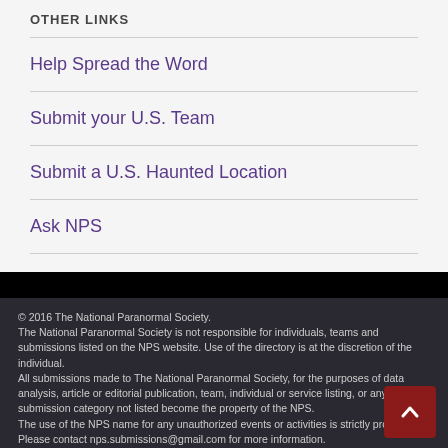OTHER LINKS
Help Spread the Word
Submit your U.S. Team
Submit a U.S. Haunted Location
Ask NPS
© 2016 The National Paranormal Society. The National Paranormal Society is not responsible for individuals, teams and submissions listed on the NPS website. Use of the directory is at the discretion of the individual. All submissions made to The National Paranormal Society, for the purposes of data analysis, article or editorial publication, team, individual or service listing, or any other submission category not listed become the property of the NPS. The use of the NPS name for any unauthorized events or activities is strictly prohibited. Please contact nps.submissions@gmail.com for more information. Made with ♥ by Graphene Themes.